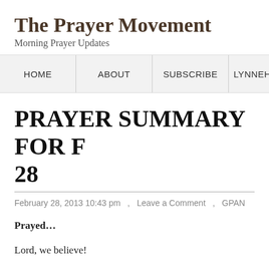The Prayer Movement
Morning Prayer Updates
HOME   ABOUT   SUBSCRIBE   LYNNEHAMM...
PRAYER SUMMARY FOR F... 28
February 28, 2013 10:43 pm  ,  Leave a Comment  ,  GPAN
Prayed…
Lord, we believe!